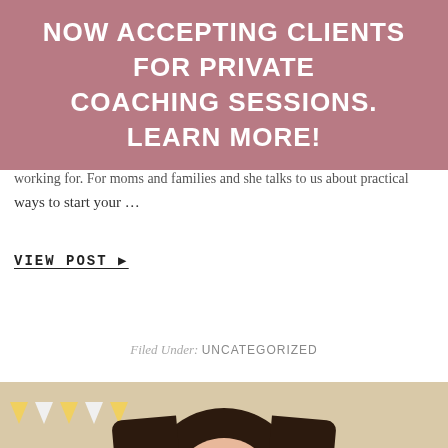NOW ACCEPTING CLIENTS FOR PRIVATE COACHING SESSIONS. LEARN MORE!
...working for. For moms and families and she talks to us about practical ways to start your ...
VIEW POST ▶
Filed Under: UNCATEGORIZED
[Figure (photo): Smiling woman with long dark hair wearing a red/pink top, photographed in a warm beige room with yellow bunting decoration in the background.]